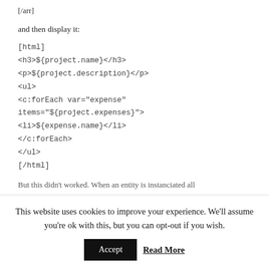[/arr]
and then display it:
[html]
<h3>${project.name}</h3>
<p>${project.description}</p>
<ul>
<c:forEach var="expense" items="${project.expenses}">
<li>${expense.name}</li>
</c:forEach>
</ul>
[/html]
But this didn't worked. When an entity is instanciated all
This website uses cookies to improve your experience. We'll assume you're ok with this, but you can opt-out if you wish.
Accept
Read More